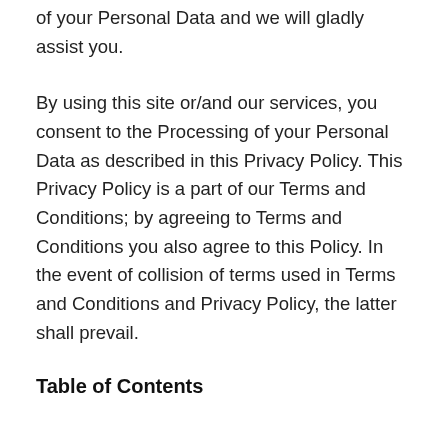of your Personal Data and we will gladly assist you.
By using this site or/and our services, you consent to the Processing of your Personal Data as described in this Privacy Policy. This Privacy Policy is a part of our Terms and Conditions; by agreeing to Terms and Conditions you also agree to this Policy. In the event of collision of terms used in Terms and Conditions and Privacy Policy, the latter shall prevail.
Table of Contents